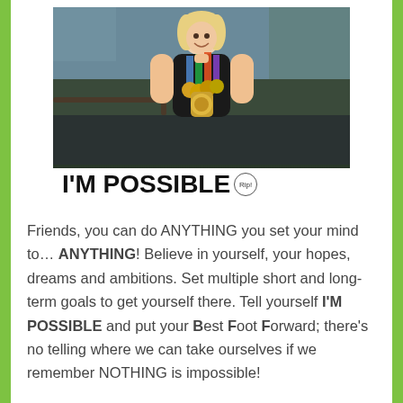[Figure (photo): A woman wearing multiple race medals around her neck, standing and smiling. The bottom of the image has a white banner reading 'I'M POSSIBLE' in bold black uppercase letters, with a small circular badge marked 'Rip!' to the right.]
Friends, you can do ANYTHING you set your mind to… ANYTHING! Believe in yourself, your hopes, dreams and ambitions. Set multiple short and long-term goals to get yourself there. Tell yourself I'M POSSIBLE and put your Best Foot Forward; there's no telling where we can take ourselves if we remember NOTHING is impossible!